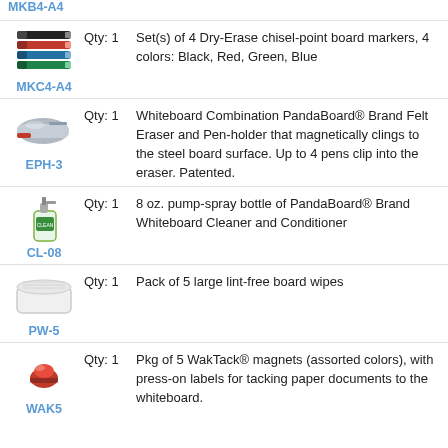MKB4-A4
[Figure (illustration): Four dry-erase chisel-point markers in black, red, blue, and green]
Qty: 1
Set(s) of 4 Dry-Erase chisel-point board markers, 4 colors: Black, Red, Green, Blue
MKC4-A4
[Figure (illustration): Whiteboard combination felt eraser and pen-holder]
Qty: 1
Whiteboard Combination PandaBoard® Brand Felt Eraser and Pen-holder that magnetically clings to the steel board surface. Up to 4 pens clip into the eraser. Patented.
EPH-3
[Figure (illustration): Small pump-spray bottle of whiteboard cleaner]
Qty: 1
8 oz. pump-spray bottle of PandaBoard® Brand Whiteboard Cleaner and Conditioner
CL-08
[Figure (illustration): Pack of large lint-free board wipes in a white box]
Qty: 1
Pack of 5 large lint-free board wipes
PW-5
[Figure (illustration): Red WakTack magnet]
Qty: 1
Pkg of 5 WakTack® magnets (assorted colors), with press-on labels for tacking paper documents to the whiteboard.
WAK5